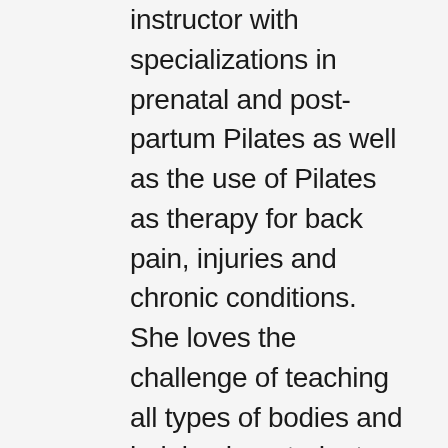instructor with specializations in prenatal and post-partum Pilates as well as the use of Pilates as therapy for back pain, injuries and chronic conditions. She loves the challenge of teaching all types of bodies and helping her students achieve their goals. With Pilates, Lucie is able to help her students find their core and create balance and symmetry in their bodies. Lucie has been teaching group and private exercise sessions for more than 15 years. She has found that Pilates is a great compliment to many other athletic pursuits as it lengthens, stretches, and rehabilitates the body. Lucie owns 12South Pilates in Nashville, TN and